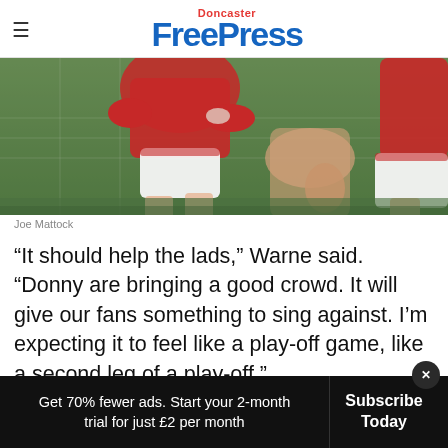Doncaster Free Press
[Figure (photo): Close-up of football players in red and white jerseys on a pitch, Joe Mattock]
Joe Mattock
“It should help the lads,” Warne said. “Donny are bringing a good crowd. It will give our fans something to sing against. I’m expecting it to feel like a play-off game, like a second leg of a play-off.”
Get 70% fewer ads. Start your 2-month trial for just £2 per month